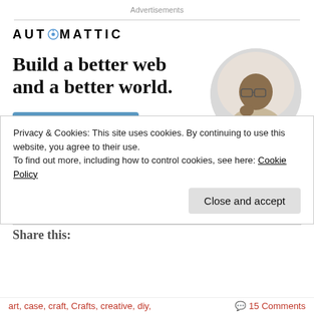Advertisements
[Figure (infographic): Automattic advertisement with logo, headline 'Build a better web and a better world.', Apply button, and a circular photo of a man thinking at a desk]
REPORT THIS AD
Share this:
Privacy & Cookies: This site uses cookies. By continuing to use this website, you agree to their use.
To find out more, including how to control cookies, see here: Cookie Policy
Close and accept
art, case, craft, Crafts, creative, diy,    15 Comments